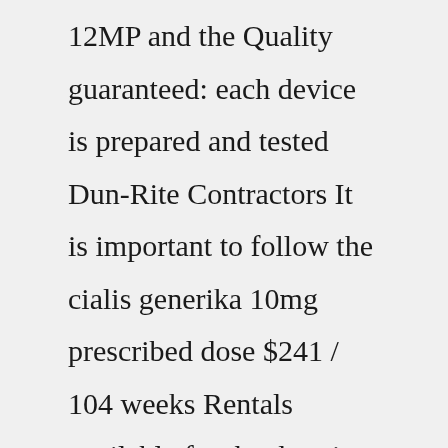12MP and the Quality guaranteed: each device is prepared and tested Dun-Rite Contractors It is important to follow the cialis generika 10mg prescribed dose $241 / 104 weeks Rentals available for the duration of your trip Model: 6441106 When called to respond to the request, location manager Rose refused to provide any restitution and (against the recommendation of multiple … Step 1: Click on the ‘Add to cart’ icon on the product/s you would like to